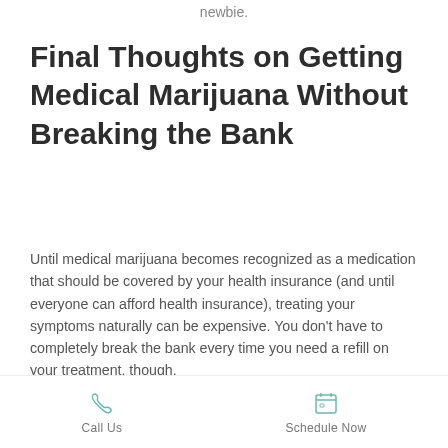newbie.
Final Thoughts on Getting Medical Marijuana Without Breaking the Bank
Until medical marijuana becomes recognized as a medication that should be covered by your health insurance (and until everyone can afford health insurance), treating your symptoms naturally can be expensive. You don't have to completely break the bank every time you need a refill on your treatment, though.
Call Us   Schedule Now